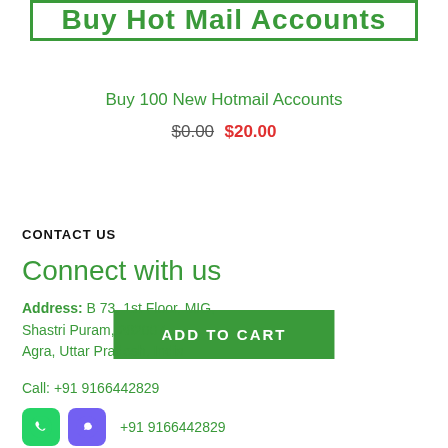[Figure (other): Green bordered banner with bold green text: Buy Hot Mail Accounts]
Buy 100 New Hotmail Accounts
$0.00 $20.00
ADD TO CART
CONTACT US
Connect with us
Address: B 73, 1st Floor, MIG, Shastri Puram, 282007, Agra, Uttar Pradesh, India
Call: +91 9166442829
+91 9166442829